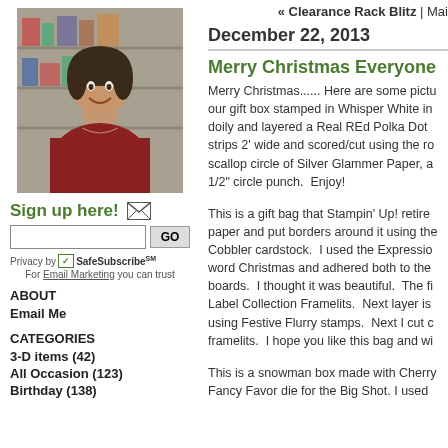[Figure (photo): Portrait photo of a woman smiling, resting chin on hand, in a craft/supply store setting]
Sign up here!
Privacy by SafeSubscribeSM
For Email Marketing you can trust
ABOUT
Email Me
CATEGORIES
3-D items (42)
All Occasion (123)
Birthday (138)
« Clearance Rack Blitz | Mai
December 22, 2013
Merry Christmas Everyone
Merry Christmas...... Here are some pictu our gift box stamped in Whisper White in doily and layered a Real REd Polka Dot strips 2' wide and scored/cut using the ro scallop circle of Silver Glammer Paper, a 1/2" circle punch.  Enjoy!
This is a gift bag that Stampin' Up! retire paper and put borders around it using the Cobbler cardstock.  I used the Expressio word Christmas and adhered both to the boards.  I thought it was beautiful.  The fi Label Collection Framelits.  Next layer is using Festive Flurry stamps.  Next I cut c framelits.  I hope you like this bag and wi
This is a snowman box made with Cherry Fancy Favor die for the Big Shot. I used